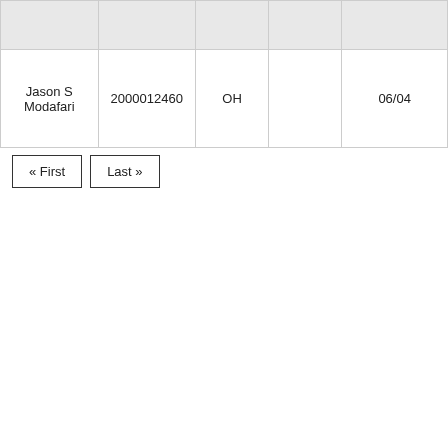|  |  |  |  |  |
| --- | --- | --- | --- | --- |
| Jason S Modafari | 2000012460 | OH |  | 06/04 |
« First   Last »